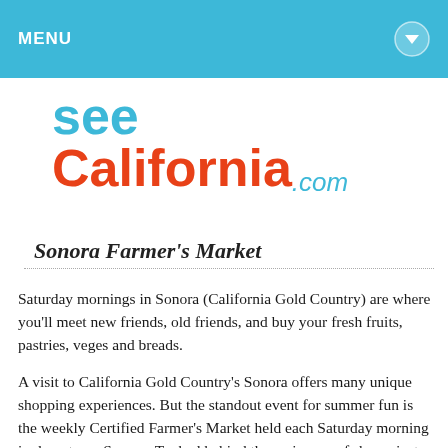MENU
[Figure (logo): seeCalifornia.com logo with 'see' in teal/blue and 'California' in orange-red, '.com' in teal cursive]
Sonora Farmer's Market
Saturday mornings in Sonora (California Gold Country) are where you'll meet new friends, old friends, and buy your fresh fruits, pastries, veges and breads.
A visit to California Gold Country's Sonora offers many unique shopping experiences. But the standout event for summer fun is the weekly Certified Farmer's Market held each Saturday morning in downtown Sonora. Tucked behind the main row of shops, just follow the crowds to Theall and Stewart Streets where you'll find a big parking lot with colorful tents and a buzz of people swarming through the outdoor mall to enjoy fresh